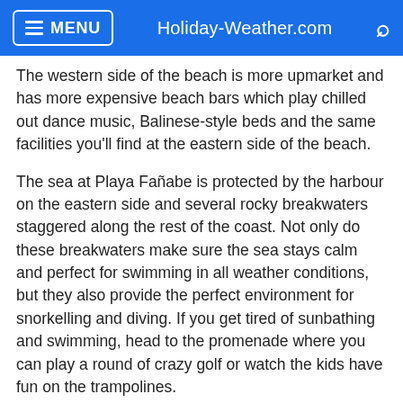MENU  Holiday-Weather.com  🔍
The western side of the beach is more upmarket and has more expensive beach bars which play chilled out dance music, Balinese-style beds and the same facilities you'll find at the eastern side of the beach.
The sea at Playa Fañabe is protected by the harbour on the eastern side and several rocky breakwaters staggered along the rest of the coast. Not only do these breakwaters make sure the sea stays calm and perfect for swimming in all weather conditions, but they also provide the perfect environment for snorkelling and diving. If you get tired of sunbathing and swimming, head to the promenade where you can play a round of crazy golf or watch the kids have fun on the trampolines.
Playa El Camison